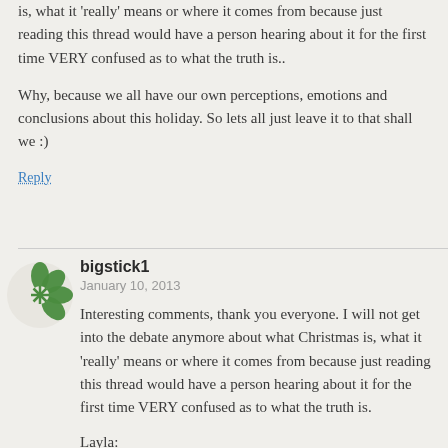is, what it 'really' means or where it comes from because just reading this thread would have a person hearing about it for the first time VERY confused as to what the truth is..
Why, because we all have our own perceptions, emotions and conclusions about this holiday. So lets all just leave it to that shall we :)
Reply
bigstick1
January 10, 2013
Interesting comments, thank you everyone. I will not get into the debate anymore about what Christmas is, what it 'really' means or where it comes from because just reading this thread would have a person hearing about it for the first time VERY confused as to what the truth is.
Layla:
Regarding this post above, I want to tell you that you have every right to discuss your perspectives